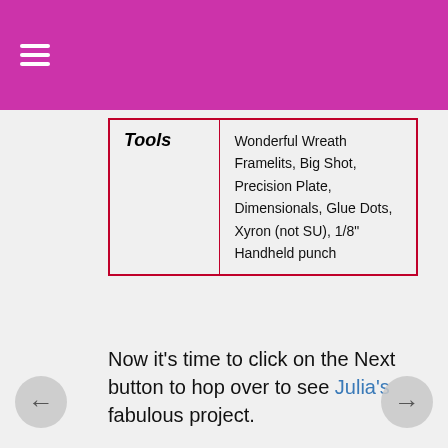≡ (hamburger menu)
| Tools |  |
| --- | --- |
| Tools | Wonderful Wreath Framelits, Big Shot, Precision Plate, Dimensionals, Glue Dots, Xyron (not SU), 1/8" Handheld punch |
Now it's time to click on the Next button to hop over to see Julia's fabulous project.
[Figure (photo): PREVIOUS blog button graphic — geometric polygon background in coral/teal tones with 'PREVIOUS blog' text in white]
[Figure (photo): NEXT blog button graphic — geometric polygon background in peach/warm tones with 'NEXT' text in white (partially visible)]